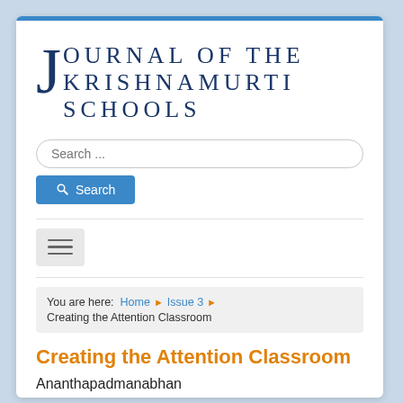[Figure (logo): Journal of the Krishnamurti Schools logo with large serif J and uppercase text]
Search ...
Search
[Figure (other): Hamburger menu button with three horizontal lines]
You are here: Home ▶ Issue 3 ▶ Creating the Attention Classroom
Creating the Attention Classroom
Ananthapadmanabhan